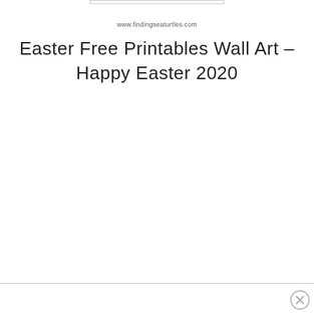www.findingseaturtles.com
Easter Free Printables Wall Art – Happy Easter 2020